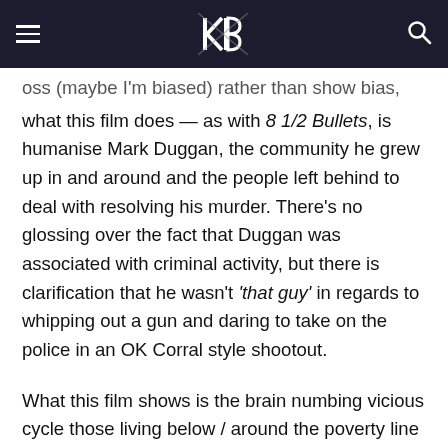[hamburger menu] [logo] [search icon]
oss (maybe I'm biased) rather than show bias, what this film does — as with 8 1/2 Bullets, is humanise Mark Duggan, the community he grew up in and around and the people left behind to deal with resolving his murder. There's no glossing over the fact that Duggan was associated with criminal activity, but there is clarification that he wasn't 'that guy' in regards to whipping out a gun and daring to take on the police in an OK Corral style shootout.
What this film shows is the brain numbing vicious cycle those living below / around the poverty line can succumb to. Who would you be if you lived on a sprawling estate? An estate which has a legacy of judgement stemming from its creation in the 60s where it housed up to 4,000